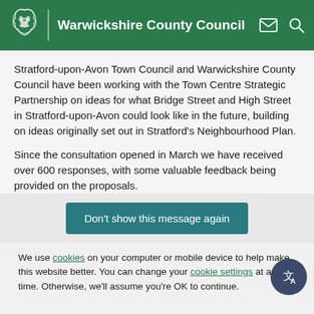Warwickshire County Council
Stratford-upon-Avon Town Council and Warwickshire County Council have been working with the Town Centre Strategic Partnership on ideas for what Bridge Street and High Street in Stratford-upon-Avon could look like in the future, building on ideas originally set out in Stratford's Neighbourhood Plan.
Since the consultation opened in March we have received over 600 responses, with some valuable feedback being provided on the proposals.
Don't show this message again
We use cookies on your computer or mobile device to help make this website better. You can change your cookie settings at any time. Otherwise, we'll assume you're OK to continue.